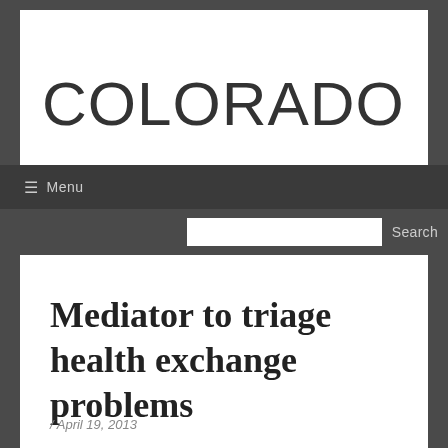COLORADO
≡ Menu
Mediator to triage health exchange problems
/ April 19, 2013